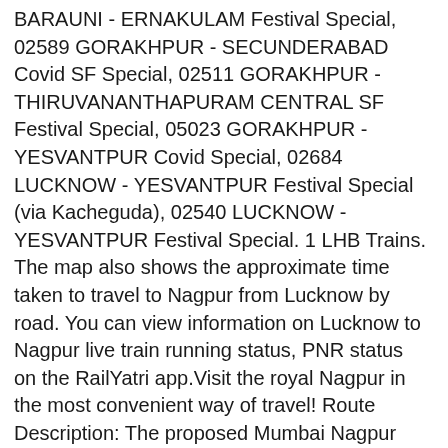BARAUNI - ERNAKULAM Festival Special, 02589 GORAKHPUR - SECUNDERABAD Covid SF Special, 02511 GORAKHPUR - THIRUVANANTHAPURAM CENTRAL SF Festival Special, 05023 GORAKHPUR - YESVANTPUR Covid Special, 02684 LUCKNOW - YESVANTPUR Festival Special (via Kacheguda), 02540 LUCKNOW - YESVANTPUR Festival Special. 1 LHB Trains. The map also shows the approximate time taken to travel to Nagpur from Lucknow by road. You can view information on Lucknow to Nagpur live train running status, PNR status on the RailYatri app.Visit the royal Nagpur in the most convenient way of travel! Route Description: The proposed Mumbai Nagpur High Speed Rail Corridor is planned to run along Samruddhi Mahamarg Expressway, national highways, greenfield areas, and may pass through arterial roads of the intermediate city road network for high speed rail connectivity between different cities along the corridor. Following trains are running from Lucknow to Nagpur on a weekly basis: